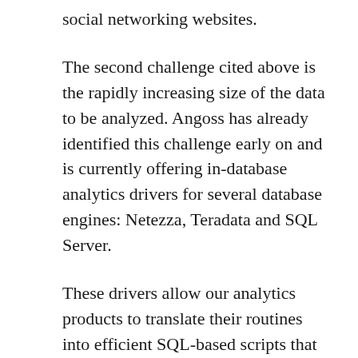social networking websites.
The second challenge cited above is the rapidly increasing size of the data to be analyzed. Angoss has already identified this challenge early on and is currently offering in-database analytics drivers for several database engines: Netezza, Teradata and SQL Server.
These drivers allow our analytics products to translate their routines into efficient SQL-based scripts that run in the database engine to exploit its performance as well as the powerful hardware on which it runs. Thus, instead of copying the data to a staging format for analytics, these drivers allow the data to be